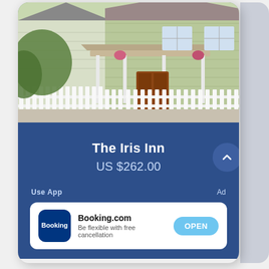[Figure (photo): Exterior photo of The Iris Inn: a light yellow-green clapboard house with a covered front porch, hanging flower baskets, white picket fence in front, and trees on both sides under a bright sky.]
The Iris Inn
US $262.00
Use App
Ad
[Figure (logo): Booking.com app logo — dark blue rounded square with white text 'Booking']
Booking.com
Be flexible with free cancellation
OPEN